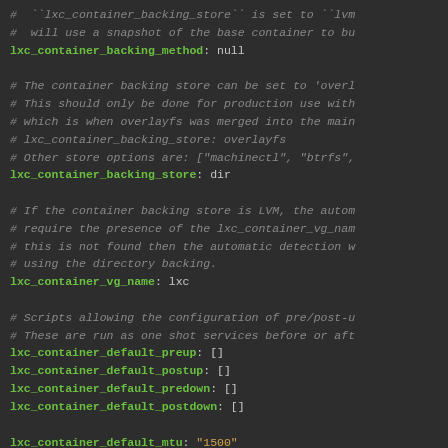#  ``lxc_container_backing_store`` is set to ``lvm
#  will use a snapshot of the base container to b
lxc_container_backing_method: null

# The container backing store can be set to 'over...
# This should only be done for production use with
# which is when overlayfs was merged into the main
# lxc_container_backing_store: overlayfs
# Other store options are: ["machinectl", "btrfs",...
lxc_container_backing_store: dir

# If the container backing store is LVM, the autom
# require the presence of the lxc_container_vg_nam
# this is not found then the automatic detection w
# using the directory backing.
lxc_container_vg_name: lxc

# Scripts allowing the configuration of pre/post-u
# These are run as one shot services before or aft
lxc_container_default_preup: []
lxc_container_default_postup: []
lxc_container_default_predown: []
lxc_container_default_postdown: []

lxc_container_default_mtu: "1500"

lxc_container_domain: "openstack.local"